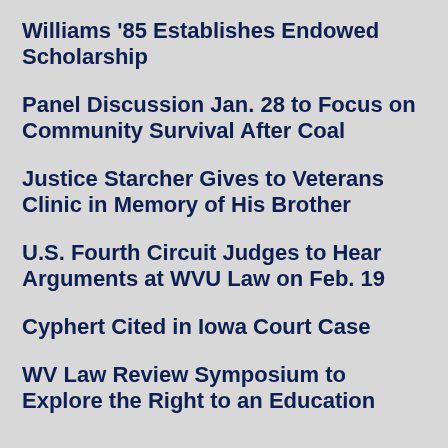Williams '85 Establishes Endowed Scholarship
Panel Discussion Jan. 28 to Focus on Community Survival After Coal
Justice Starcher Gives to Veterans Clinic in Memory of His Brother
U.S. Fourth Circuit Judges to Hear Arguments at WVU Law on Feb. 19
Cyphert Cited in Iowa Court Case
WV Law Review Symposium to Explore the Right to an Education